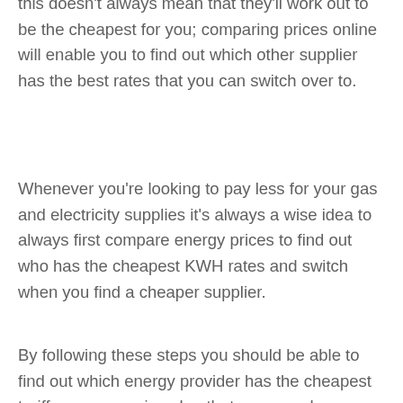this doesn't always mean that they'll work out to be the cheapest for you; comparing prices online will enable you to find out which other supplier has the best rates that you can switch over to.
Whenever you're looking to pay less for your gas and electricity supplies it's always a wise idea to always first compare energy prices to find out who has the cheapest KWH rates and switch when you find a cheaper supplier.
By following these steps you should be able to find out which energy provider has the cheapest tariff or energy price plan that you can change